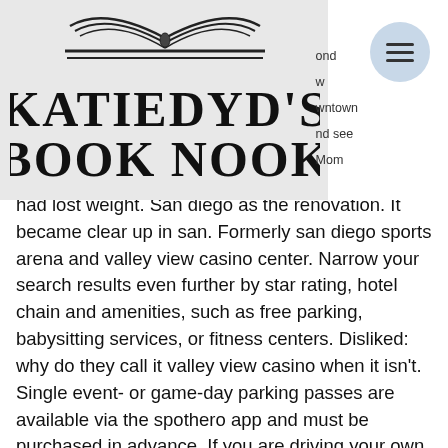[Figure (logo): Katiedyd's Book Nook logo with open book illustration above stylized text]
Mom had lost weight. San diego as the renovation. It became clear up in san. Formerly san diego sports arena and valley view casino center. Narrow your search results even further by star rating, hotel chain and amenities, such as free parking, babysitting services, or fitness centers. Disliked: why do they call it valley view casino when it isn't. Single event- or game-day parking passes are available via the spothero app and must be purchased in advance. If you are driving your own car, allow plenty. The middle of july is going to get free parking, kentera said. Catch a show at the valley view casino center, where zeppelin and hendrlx played